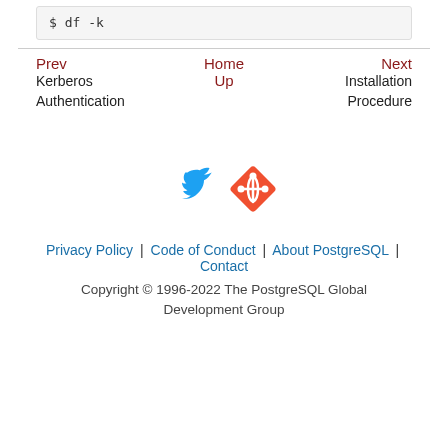$ df -k
Prev | Home | Next
Kerberos Authentication | Up | Installation Procedure
[Figure (illustration): Twitter bird logo (blue) and Git logo (orange/red diamond shape) social media icons]
Privacy Policy | Code of Conduct | About PostgreSQL | Contact
Copyright © 1996-2022 The PostgreSQL Global Development Group